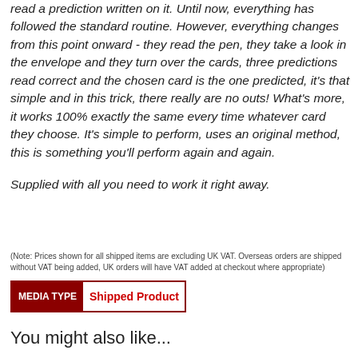read a prediction written on it. Until now, everything has followed the standard routine. However, everything changes from this point onward - they read the pen, they take a look in the envelope and they turn over the cards, three predictions read correct and the chosen card is the one predicted, it's that simple and in this trick, there really are no outs! What's more, it works 100% exactly the same every time whatever card they choose. It's simple to perform, uses an original method, this is something you'll perform again and again.

Supplied with all you need to work it right away.
(Note: Prices shown for all shipped items are excluding UK VAT. Overseas orders are shipped without VAT being added, UK orders will have VAT added at checkout where appropriate)
MEDIA TYPE Shipped Product
You might also like...